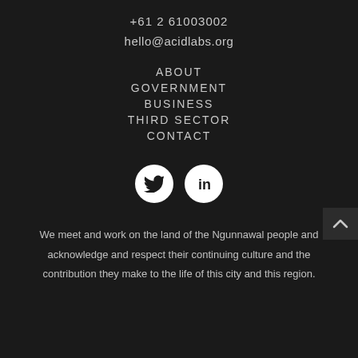+61 2 61003002
hello@acidlabs.org
ABOUT
GOVERNMENT
BUSINESS
THIRD SECTOR
CONTACT
[Figure (illustration): Twitter bird icon in white circle and LinkedIn 'in' icon in white circle]
We meet and work on the land of the Ngunnawal people and acknowledge and respect their continuing culture and the contribution they make to the life of this city and this region.